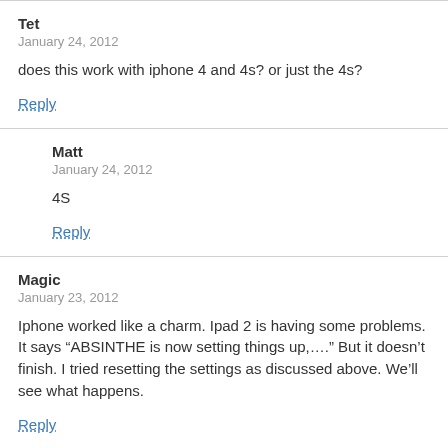Tet
January 24, 2012
does this work with iphone 4 and 4s? or just the 4s?
Reply
Matt
January 24, 2012
4S
Reply
Magic
January 23, 2012
Iphone worked like a charm. Ipad 2 is having some problems. It says “ABSINTHE is now setting things up,….” But it doesn’t finish. I tried resetting the settings as discussed above. We’ll see what happens.
Reply
Lino